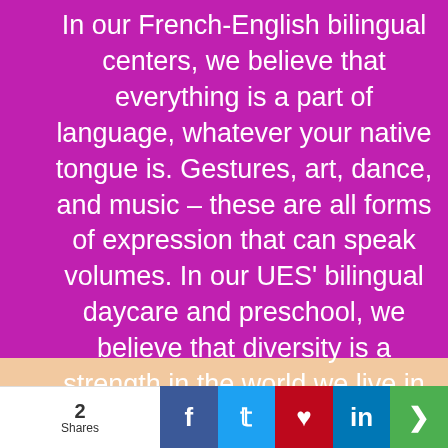In our French-English bilingual centers, we believe that everything is a part of language, whatever your native tongue is. Gestures, art, dance, and music – these are all forms of expression that can speak volumes. In our UES' bilingual daycare and preschool, we believe that diversity is a strength in the world we live in and should continuously be celebrated. We want our students to be the next global leaders while becoming independent, confident, empathetic…
2 Shares | Facebook | Twitter | Pinterest | LinkedIn | Share